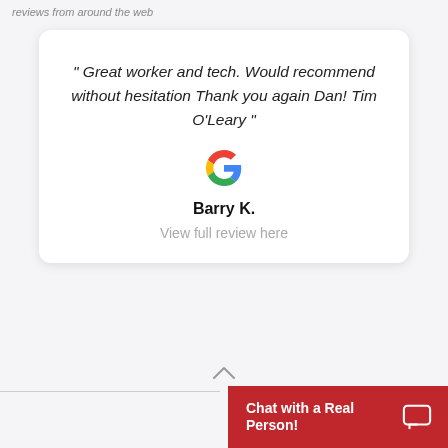reviews from around the web
" Great worker and tech. Would recommend without hesitation Thank you again Dan! Tim O'Leary "
[Figure (logo): Google 'G' multicolor logo]
Barry K.
View full review here
Chat with a Real Person!